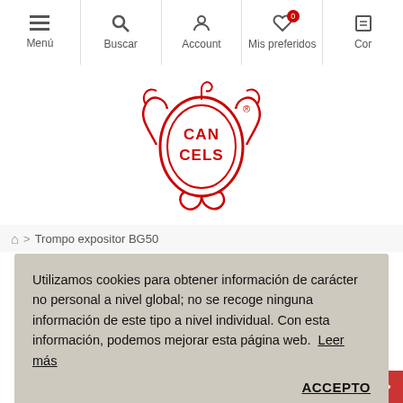Menú | Buscar | Account | Mis preferidos | Cor
[Figure (logo): Can Cels logo in red — a spinning top / bottle gourd shape with decorative swirls and the text CAN CELS inside an oval, with a registered trademark symbol]
🏠 > Trompo expositor BG50
Utilizamos cookies para obtener información de carácter no personal a nivel global; no se recoge ninguna información de este tipo a nivel individual. Con esta información, podemos mejorar esta página web.  Leer más
ACCEPTO